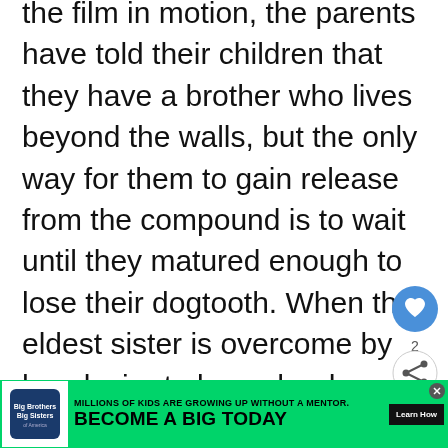the film in motion, the parents have told their children that they have a brother who lives beyond the walls, but the only way for them to gain release from the compound is to wait until they matured enough to lose their dogtooth. When the eldest sister is overcome by her desire to leave her house, she takes matters into her own hands, providing a terribly brutal scene that leads to the conclusion. Dogtooth is a borderline exploitation film – a relatively heavy-handed allegory on the dangers of sheltering your children from the world. Most admirable of the fil...
[Figure (other): UI elements: heart/like button (blue circle with heart icon, count 2), share button (circle with share icon)]
[Figure (other): Advertisement banner: Big Brothers Big Sisters. Text: MILLIONS OF KIDS ARE GROWING UP WITHOUT A MENTOR. BECOME A BIG TODAY. Learn How button.]